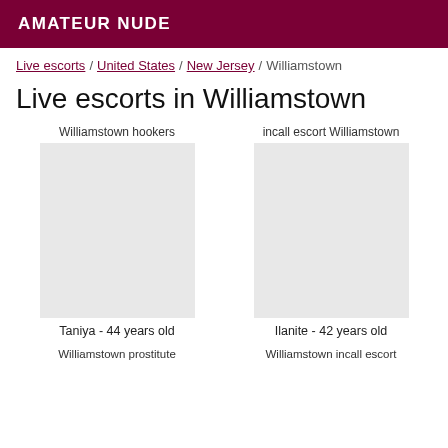AMATEUR NUDE
Live escorts / United States / New Jersey / Williamstown
Live escorts in Williamstown
Williamstown hookers
incall escort Williamstown
Taniya - 44 years old
Ilanite - 42 years old
Williamstown prostitute
Williamstown incall escort